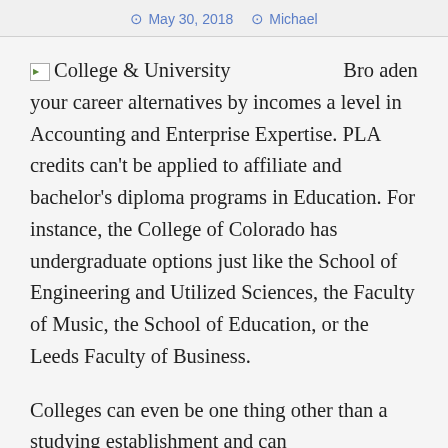May 30, 2018   Michael
College & University Broaden your career alternatives by incomes a level in Accounting and Enterprise Expertise. PLA credits can't be applied to affiliate and bachelor's diploma programs in Education. For instance, the College of Colorado has undergraduate options just like the School of Engineering and Utilized Sciences, the Faculty of Music, the School of Education, or the Leeds Faculty of Business.
Colleges can even be one thing other than a studying establishment and can